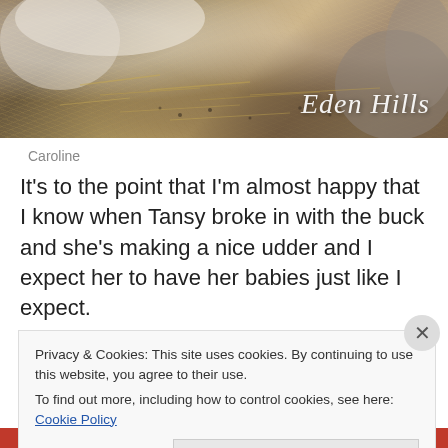[Figure (photo): Photo of goats in a barn with hay/straw on the ground. White text 'Eden Hills' in italic script in the lower right corner.]
Caroline
It's to the point that I'm almost happy that I know when Tansy broke in with the buck and she's making a nice udder and I expect her to have her babies just like I expect.
Privacy & Cookies: This site uses cookies. By continuing to use this website, you agree to their use.
To find out more, including how to control cookies, see here: Cookie Policy
Close and accept